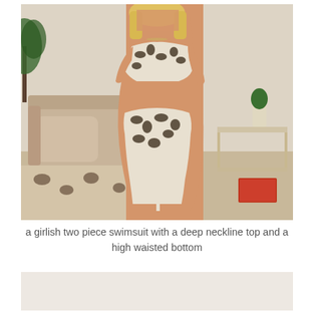[Figure (photo): A woman wearing a leopard print two-piece swimsuit with a deep neckline tie-front top and high-waisted bottom, standing in a living room with a beige sofa, glass coffee table, and leopard print rug.]
a girlish two piece swimsuit with a deep neckline top and a high waisted bottom
[Figure (photo): Partial view of another image at the bottom of the page, mostly cropped out.]